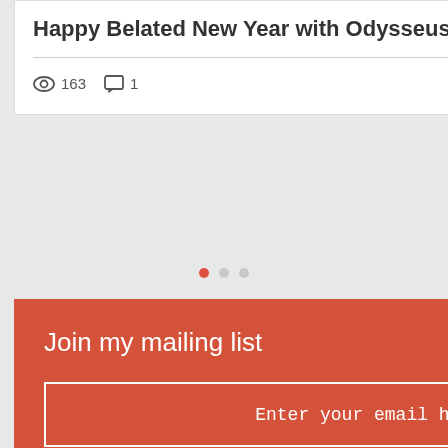Happy Belated New Year with Odysseus
163 views · 1 comment · 3 likes
[Figure (infographic): Pagination dots: one filled red dot and two grey dots indicating carousel position]
Join my mailing list
Enter your email here*
Subscribe Now